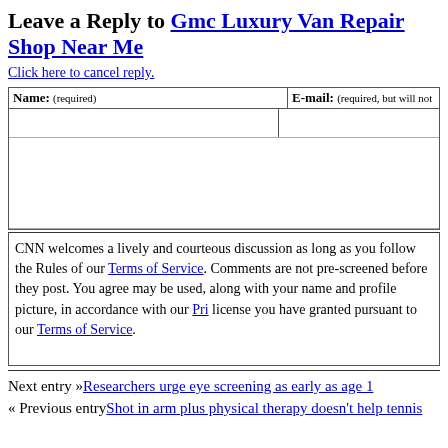Leave a Reply to Gmc Luxury Van Repair Shop Near Me
Click here to cancel reply.
| Name: (required) | E-mail: (required, but will not be shown) |
| --- | --- |
|  |  |
CNN welcomes a lively and courteous discussion as long as you follow the Rules of Conduct set forth in our Terms of Service. Comments are not pre-screened before they post. You agree that anything you post may be used, along with your name and profile picture, in accordance with our Privacy Policy and the license you have granted pursuant to our Terms of Service.
Next entry »Researchers urge eye screening as early as age 1
« Previous entryShot in arm plus physical therapy doesn't help tennis